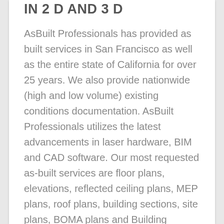IN 2 D AND 3 D
AsBuilt Professionals has provided as built services in San Francisco as well as the entire state of California for over 25 years. We also provide nationwide (high and low volume) existing conditions documentation. AsBuilt Professionals utilizes the latest advancements in laser hardware, BIM and CAD software. Our most requested as-built services are floor plans, elevations, reflected ceiling plans, MEP plans, roof plans, building sections, site plans, BOMA plans and Building Information Models (BIM). Our typical deliverables are CAD DWG files, Revit RVT files, PDF files and JPG photo files. Typical clients include Developers, large and small